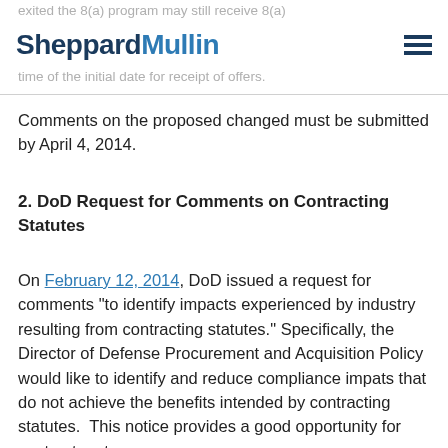SheppardMullin
exited the 8(a) program may still receive 8(a) awards if they were an active participant at the time of the initial date for receipt of offers.
Comments on the proposed changed must be submitted by April 4, 2014.
2. DoD Request for Comments on Contracting Statutes
On February 12, 2014, DoD issued a request for comments “to identify impacts experienced by industry resulting from contracting statutes.” Specifically, the Director of Defense Procurement and Acquisition Policy would like to identify and reduce compliance impats that do not achieve the benefits intended by contracting statutes.  This notice provides a good opportunity for contractors to